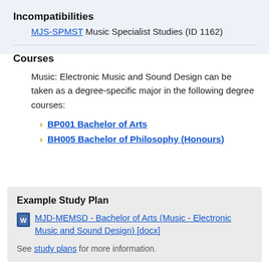Incompatibilities
MJS-SPMST Music Specialist Studies (ID 1162)
Courses
Music: Electronic Music and Sound Design can be taken as a degree-specific major in the following degree courses:
BP001 Bachelor of Arts
BH005 Bachelor of Philosophy (Honours)
Example Study Plan
MJD-MEMSD - Bachelor of Arts (Music - Electronic Music and Sound Design) [docx]
See study plans for more information.